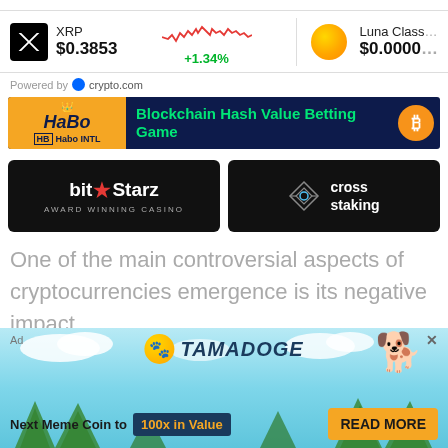[Figure (infographic): Ticker bar showing XRP at $0.3853 with a red line chart and +1.34% change, and Luna Classic at $0.0000]
Powered by crypto.com
[Figure (infographic): HaBo INTL advertisement banner - Blockchain Hash Value Betting Game]
[Figure (infographic): BitStarz Award Winning Casino advertisement]
[Figure (infographic): Cross Staking advertisement]
One of the main controversial aspects of cryptocurrencies emergence is its negative impact
[Figure (infographic): Tamadoge advertisement - Next Meme Coin to 100x in Value - READ MORE]